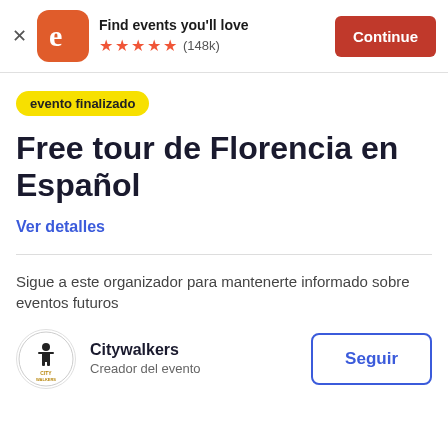[Figure (screenshot): Eventbrite app banner with orange rounded-square logo showing stylized 'e', text 'Find events you'll love', five orange stars, (148k) reviews, and orange Continue button]
evento finalizado
Free tour de Florencia en Español
Ver detalles
Sigue a este organizador para mantenerte informado sobre eventos futuros
[Figure (logo): Citywalkers circular logo with small figure icon and 'CITY WALKERS' text]
Citywalkers
Creador del evento
Seguir